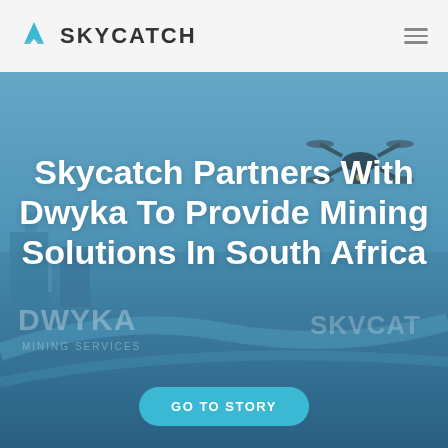SKYCATCH
[Figure (photo): Aerial/drone photo of mining site with blue tint overlay, showing industrial infrastructure, roads, and a DJI-style drone in upper right. Dwyka Mining Services and Skycatch logos visible in lower portion.]
Skycatch Partners With Dwyka To Provide Mining Solutions In South Africa
GO TO STORY